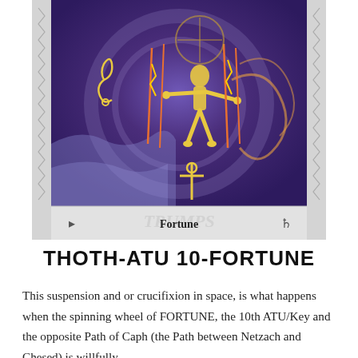[Figure (illustration): Thoth Tarot card ATU 10 Fortune showing a golden figure suspended/crucified in space against a purple swirling background with lightning bolts, musical symbols, and mystical imagery. Card has decorative silver border sides. Bottom label bar shows Hebrew letter kaph on left, 'TRUMPS' watermark, 'Fortune' in bold center, and numeral 4 on right.]
THOTH-ATU 10-FORTUNE
This suspension and or crucifixion in space, is what happens when the spinning wheel of FORTUNE, the 10th ATU/Key and the opposite Path of Caph (the Path between Netzach and Chesed) is willfully